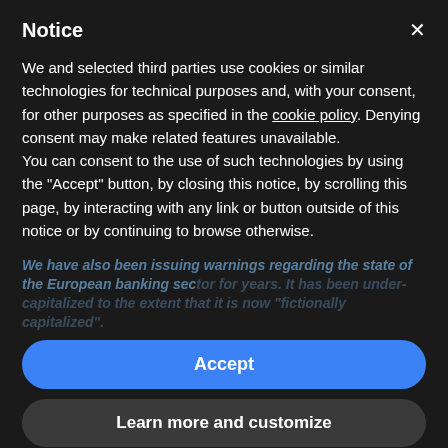Notice
We and selected third parties use cookies or similar technologies for technical purposes and, with your consent, for other purposes as specified in the cookie policy. Denying consent may make related features unavailable.
You can consent to the use of such technologies by using the "Accept" button, by closing this notice, by scrolling this page, by interacting with any link or button outside of this notice or by continuing to browse otherwise.
We have also been issuing warnings regarding the state of the European banking sector for years. It has been under-capitalized to the extent that it is now "fictionally capitalized".
Accept
Learn more and customize
The deleterious impact of the coronavirus pandemic on the economies with the most fragile banking sectors, Italy and Spain, is very likely to set in motion an European banking crisis, which will become a global issue due to the high concentration of G-SIBs, or global systemically important